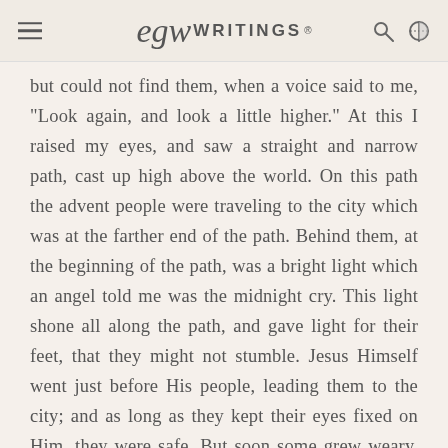EGW WRITINGS®
but could not find them, when a voice said to me, "Look again, and look a little higher." At this I raised my eyes, and saw a straight and narrow path, cast up high above the world. On this path the advent people were traveling to the city which was at the farther end of the path. Behind them, at the beginning of the path, was a bright light which an angel told me was the midnight cry. This light shone all along the path, and gave light for their feet, that they might not stumble. Jesus Himself went just before His people, leading them to the city; and as long as they kept their eyes fixed on Him, they were safe. But soon some grew weary, and said the city was a great way off, and they expected to have entered it before. Then Jesus would encourage